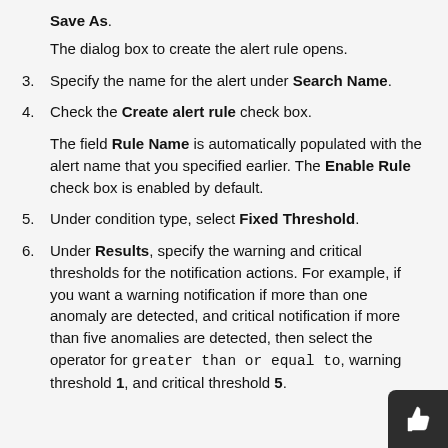Save As.
The dialog box to create the alert rule opens.
3. Specify the name for the alert under Search Name.
4. Check the Create alert rule check box.
The field Rule Name is automatically populated with the alert name that you specified earlier. The Enable Rule check box is enabled by default.
5. Under condition type, select Fixed Threshold.
6. Under Results, specify the warning and critical thresholds for the notification actions. For example, if you want a warning notification if more than one anomaly are detected, and critical notification if more than five anomalies are detected, then select the operator for greater than or equal to, warning threshold 1, and critical threshold 5.